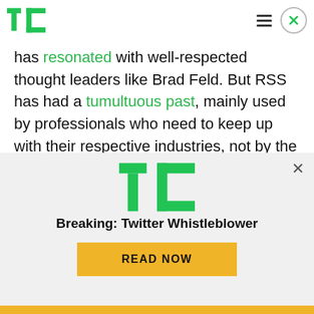TechCrunch logo, hamburger menu, close button
has resonated with well-respected thought leaders like Brad Feld. But RSS has had a tumultuous past, mainly used by professionals who need to keep up with their respective industries, not by the average consumer.
If email newsletters or RSS were to become the replacement, it would need a new approach or
[Figure (screenshot): Modal popup with TechCrunch logo, headline 'Breaking: Twitter Whistleblower', and a 'READ NOW' button in yellow/gold]
Yellow bar at bottom